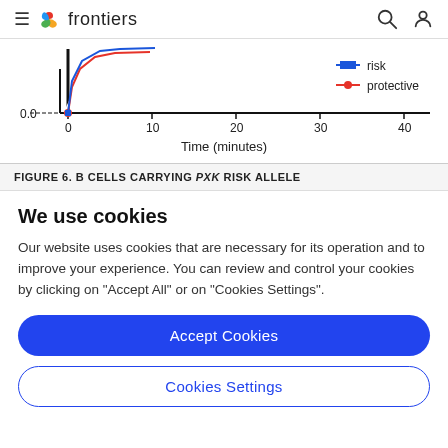frontiers
[Figure (continuous-plot): Partial view of a line chart showing 'risk' (blue line with square markers) and 'protective' (red line with circle markers) curves over Time (minutes) from 0 to 40. Y-axis shows 0.0 at bottom. Lines converge near time 0.]
FIGURE 6. B CELLS CARRYING PXK RISK ALLELE
We use cookies
Our website uses cookies that are necessary for its operation and to improve your experience. You can review and control your cookies by clicking on "Accept All" or on "Cookies Settings".
Accept Cookies
Cookies Settings